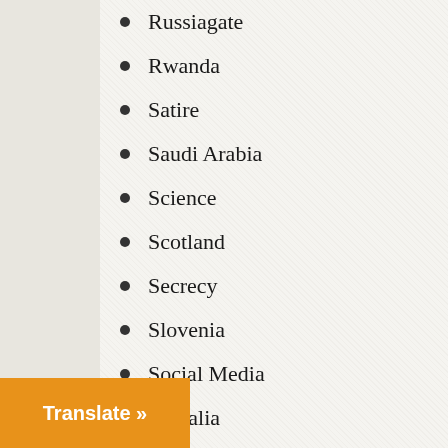Russiagate
Rwanda
Satire
Saudi Arabia
Science
Scotland
Secrecy
Slovenia
Social Media
Somalia
South Africa
South Korea
Soviet Union
Spain
Sport
Spring Fund Drive
Sudan
Summer Fund Drive
Surveillance
Susan Williams